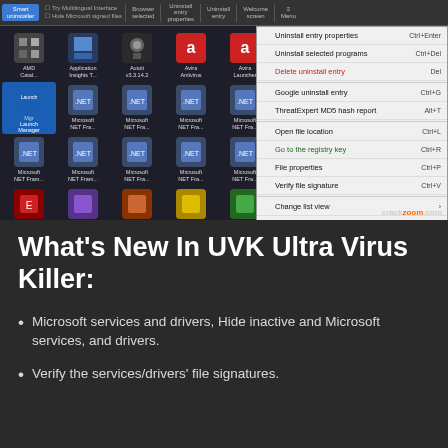[Figure (screenshot): UVK Ultra Virus Killer application window showing an icon grid of installed programs (AMD Catalyst, Application Insights, Autoit, Avira Antivirus, Avira Launcher, Microsoft NET Framework multiple versions, Microsoft Expression, Microsoft Silverlight, Microsoft SQL Server, etc.) with a right-click context menu open showing options: Uninstall entry properties (Ctrl+Enter), Uninstall selected programs (Ctrl+Del), Delete uninstall entry (Del), Google uninstall entry (Ctrl+G), ThreatExpert MD5 hash report (Alt+T), Open file location (Ctrl+L), Go to the registry key (Ctrl+R), File properties (Ctrl+P), Verify file signature (Ctrl+V), Change list view, Refresh (F5), Whitelist selected (Ctrl+W), Blacklist selected (Ctrl+B), Select blacklisted (Alt+B), Whitelist & Blacklist manager, Ignore Whitelist once (Ctrl+I), VirusTotal report (Ctrl+M), Update VirusTotal results (Ctrl+U), Hide clean VirusTotal results (Ctrl+H). Watermark crackzoom.com in bottom right.]
What’s New In UVK Ultra Virus Killer:
Microsoft services and drivers, Hide inactive and Microsoft services, and drivers.
Verify the services/drivers’ file signatures.